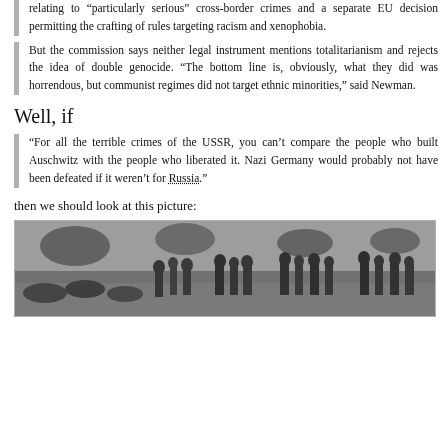relating to “particularly serious” cross-border crimes and a separate EU decision permitting the crafting of rules targeting racism and xenophobia.
But the commission says neither legal instrument mentions totalitarianism and rejects the idea of double genocide. “The bottom line is, obviously, what they did was horrendous, but communist regimes did not target ethnic minorities,” said Newman.
Well, if
“For all the terrible crimes of the USSR, you can’t compare the people who built Auschwitz with the people who liberated it. Nazi Germany would probably not have been defeated if it weren’t for Russia.”
then we should look at this picture:
[Figure (photo): Black and white historical photograph showing a group of people outdoors, likely a historical scene related to World War II or Soviet era.]